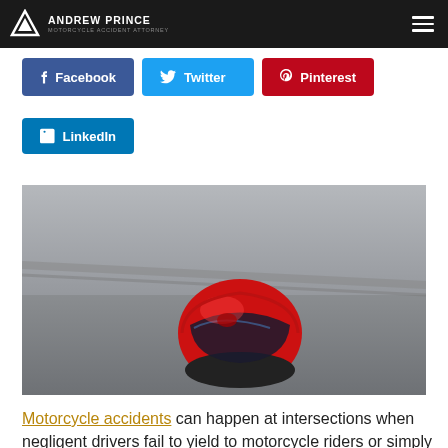ANDREW PRINCE — MOTORCYCLE ACCIDENT ATTORNEY
[Figure (screenshot): Social share buttons: Facebook (blue), Twitter (light blue), Pinterest (red), LinkedIn (blue)]
[Figure (photo): A red motorcycle helmet lying on asphalt road pavement, photographed from a low angle, with a tire mark or road line visible in the background.]
Motorcycle accidents can happen at intersections when negligent drivers fail to yield to motorcycle riders or simply